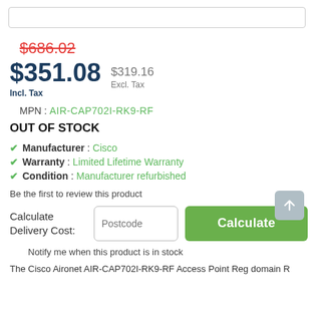$686.02
$351.08 Incl. Tax  $319.16 Excl. Tax
MPN : AIR-CAP702I-RK9-RF
OUT OF STOCK
Manufacturer : Cisco
Warranty : Limited Lifetime Warranty
Condition : Manufacturer refurbished
Be the first to review this product
Calculate Delivery Cost:
Notify me when this product is in stock
The Cisco Aironet AIR-CAP702I-RK9-RF Access Point Reg domain R